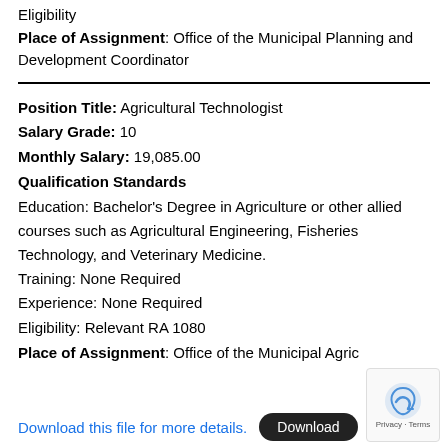Eligibility
Place of Assignment: Office of the Municipal Planning and Development Coordinator
Position Title: Agricultural Technologist
Salary Grade: 10
Monthly Salary: 19,085.00
Qualification Standards
Education: Bachelor's Degree in Agriculture or other allied courses such as Agricultural Engineering, Fisheries Technology, and Veterinary Medicine.
Training: None Required
Experience: None Required
Eligibility: Relevant RA 1080
Place of Assignment: Office of the Municipal Agric
Download this file for more details.